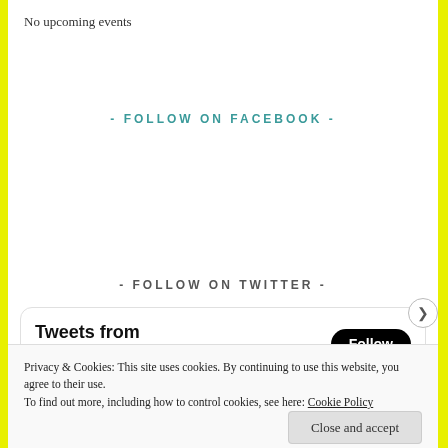No upcoming events
- FOLLOW ON FACEBOOK -
- FOLLOW ON TWITTER -
[Figure (screenshot): Twitter widget showing 'Tweets from @UkrainianParma' with a Follow button, and a tweet from Ukrainian Villa... @Ukrai... · Aug 9 with a Twitter bird icon, showing text 'On August 12th at 6:30pm there will be a']
Privacy & Cookies: This site uses cookies. By continuing to use this website, you agree to their use.
To find out more, including how to control cookies, see here: Cookie Policy
Close and accept